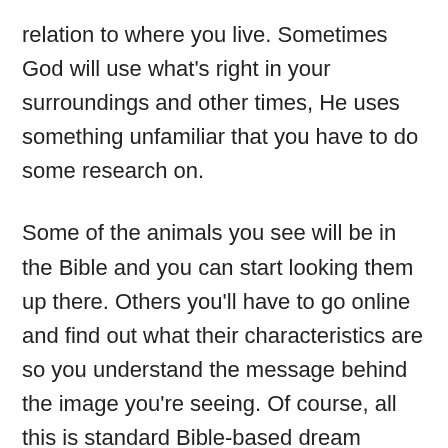relation to where you live. Sometimes God will use what's right in your surroundings and other times, He uses something unfamiliar that you have to do some research on.
Some of the animals you see will be in the Bible and you can start looking them up there. Others you'll have to go online and find out what their characteristics are so you understand the message behind the image you're seeing. Of course, all this is standard Bible-based dream interpreting methodology that I've written about many times here.